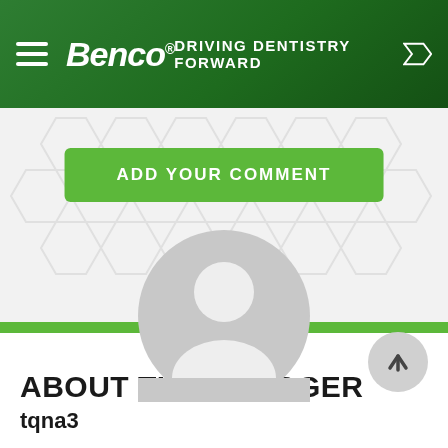Benco® — DRIVING DENTISTRY FORWARD
[Figure (screenshot): Green button labeled ADD YOUR COMMENT with rounded rectangle shape]
[Figure (illustration): Generic grey user avatar / profile silhouette icon]
ABOUT THE BLOGGER
tqna3